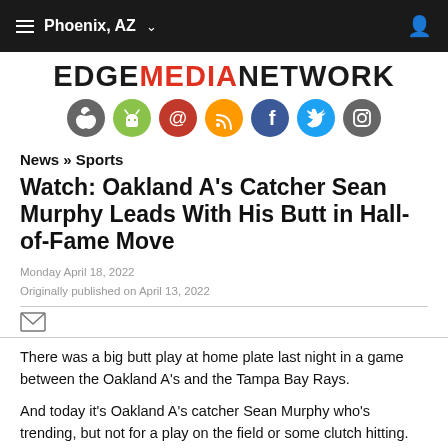Phoenix, AZ
[Figure (logo): EDGE MEDIA NETWORK logo with social media icons below]
News » Sports
Watch: Oakland A's Catcher Sean Murphy Leads With His Butt in Hall-of-Fame Move
Monday April 18, 2022
Originally published on April 13, 2022
There was a big butt play at home plate last night in a game between the Oakland A's and the Tampa Bay Rays.
And today it's Oakland A's catcher Sean Murphy who's trending, but not for a play on the field or some clutch hitting.
No, it's his butt that has gone viral.